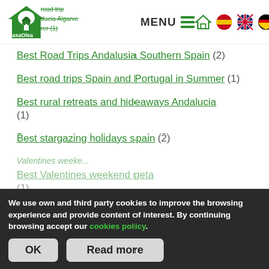CasaOlea — road trip Andalucia Algarve — MENU — navigation header with logo and language icons
Best Road Trips Andalusia Southern Spain (2)
Best road trips Spain and Portugal in Summer (1)
Best rural retreats and hideaways Andalucia (1)
Best stargazing holidays spain (2)
Best Valentines weekend getaways (1)
We use own and third party cookies to improve the browsing experience and provide content of interest. By continuing browsing accept our cookies policy.